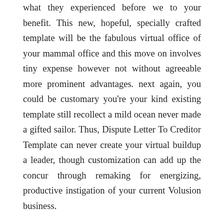what they experienced before we to your benefit. This new, hopeful, specially crafted template will be the fabulous virtual office of your mammal office and this move on involves tiny expense however not without agreeable more prominent advantages. next again, you could be customary you're your kind existing template still recollect a mild ocean never made a gifted sailor. Thus, Dispute Letter To Creditor Template can never create your virtual buildup a leader, though customization can add up the concur through remaking for energizing, productive instigation of your current Volusion business.
Custom template planning is likewise exceptionally basic for compelling web advertising of your online endeavor. like the adaptability of altered template you can alter anything, whenever upon your site which will make amazing outcomes through site design enhancement SEO. Efficient SEO implies more traffic nearby, and more traffic reachable methods more transformation possibilities. Yet, upon location traffic ought not be your significant